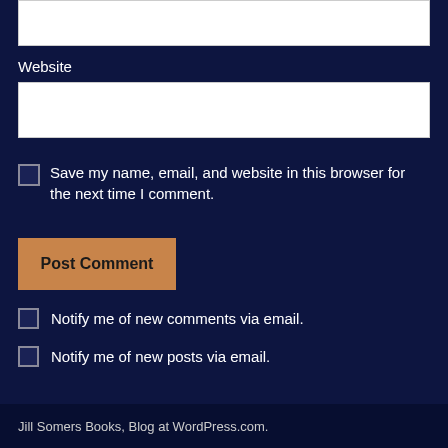Website
Save my name, email, and website in this browser for the next time I comment.
Post Comment
Notify me of new comments via email.
Notify me of new posts via email.
Jill Somers Books, Blog at WordPress.com.